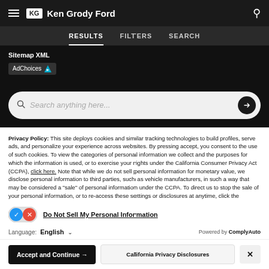Ken Grody Ford
RESULTS  FILTERS  SEARCH
Sitemap XML
[Figure (logo): AdChoices badge with cyan triangle icon]
[Figure (screenshot): Search bar with placeholder text 'Search anything here...']
Privacy Policy: This site deploys cookies and similar tracking technologies to build profiles, serve ads, and personalize your experience across websites. By pressing accept, you consent to the use of such cookies. To view the categories of personal information we collect and the purposes for which the information is used, or to exercise your rights under the California Consumer Privacy Act (CCPA), click here. Note that while we do not sell personal information for monetary value, we disclose personal information to third parties, such as vehicle manufacturers, in such a way that may be considered a "sale" of personal information under the CCPA. To direct us to stop the sale of your personal information, or to re-access these settings or disclosures at anytime, click the following icon or link:
Do Not Sell My Personal Information
Language: English
Powered by ComplyAuto
Accept and Continue →  California Privacy Disclosures  ×